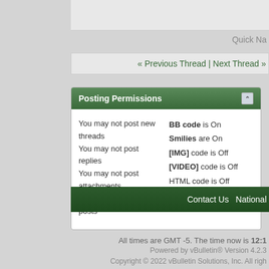Quick Na
« Previous Thread | Next Thread »
Posting Permissions
You may not post new threads
You may not post replies
You may not post attachments
You may not edit your posts
BB code is On
Smilies are On
[IMG] code is Off
[VIDEO] code is Off
HTML code is Off

Forum Rules
Contact Us  National
All times are GMT -5. The time now is 12:1
Powered by vBulletin® Version 4.2.3
Copyright © 2022 vBulletin Solutions, Inc. All righ